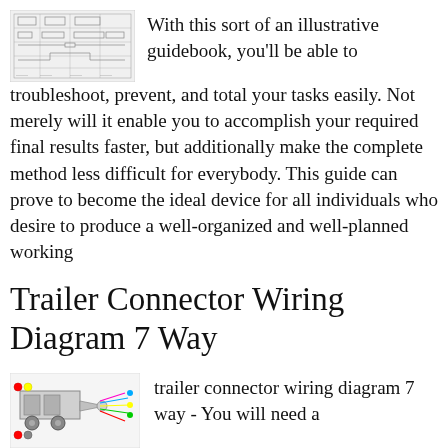[Figure (schematic): Technical schematic/blueprint diagram showing wiring or engineering layout]
With this sort of an illustrative guidebook, you'll be able to troubleshoot, prevent, and total your tasks easily. Not merely will it enable you to accomplish your required final results faster, but additionally make the complete method less difficult for everybody. This guide can prove to become the ideal device for all individuals who desire to produce a well-organized and well-planned working
Trailer Connector Wiring Diagram 7 Way
[Figure (schematic): Trailer connector wiring diagram 7 way - colorful diagram showing trailer wiring connections]
trailer connector wiring diagram 7 way - You will need a